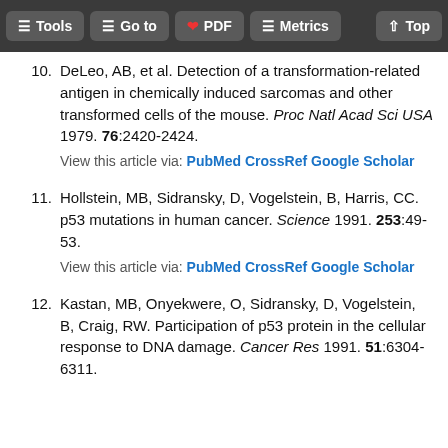Tools | Go to | PDF | Metrics | Top
10. DeLeo, AB, et al. Detection of a transformation-related antigen in chemically induced sarcomas and other transformed cells of the mouse. Proc Natl Acad Sci USA 1979. 76:2420-2424.
View this article via: PubMed CrossRef Google Scholar
11. Hollstein, MB, Sidransky, D, Vogelstein, B, Harris, CC. p53 mutations in human cancer. Science 1991. 253:49-53.
View this article via: PubMed CrossRef Google Scholar
12. Kastan, MB, Onyekwere, O, Sidransky, D, Vogelstein, B, Craig, RW. Participation of p53 protein in the cellular response to DNA damage. Cancer Res 1991. 51:6304-6311.